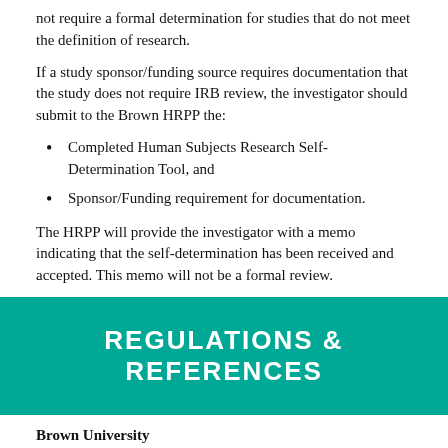not require a formal determination for studies that do not meet the definition of research.
If a study sponsor/funding source requires documentation that the study does not require IRB review, the investigator should submit to the Brown HRPP the:
Completed Human Subjects Research Self-Determination Tool, and
Sponsor/Funding requirement for documentation.
The HRPP will provide the investigator with a memo indicating that the self-determination has been received and accepted. This memo will not be a formal review.
REGULATIONS & REFERENCES
Brown University